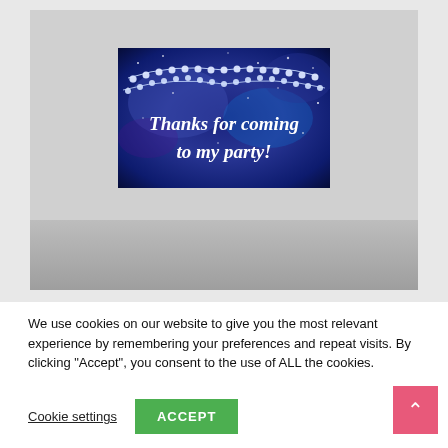[Figure (photo): A screenshot of a website showing a party thank-you card with text 'Thanks for coming to my party!' on a blue galaxy background with string lights, displayed over a light gray background with a hand holding the card at the bottom.]
We use cookies on our website to give you the most relevant experience by remembering your preferences and repeat visits. By clicking “Accept”, you consent to the use of ALL the cookies.
Cookie settings
ACCEPT